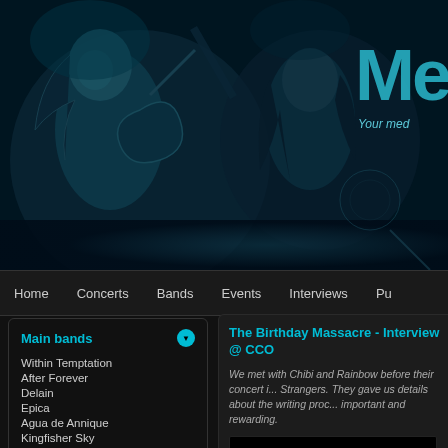[Figure (photo): Header banner with rock musicians performing on stage, dark teal/blue toned photography. Logo text partially visible on the right reading 'Me' with tagline 'Your med'.]
Home  Concerts  Bands  Events  Interviews  Pu
Main bands
Within Temptation
After Forever
Delain
Epica
Agua de Annique
Kingfisher Sky
All bands
Random album
[Figure (photo): Photo of a performer with pink/magenta stage lighting]
The Birthday Massacre - Interview @ CCO
We met with Chibi and Rainbow before their concert i... Strangers. They gave us details about the writing proc... important and rewarding.
[Figure (screenshot): Black video player area]